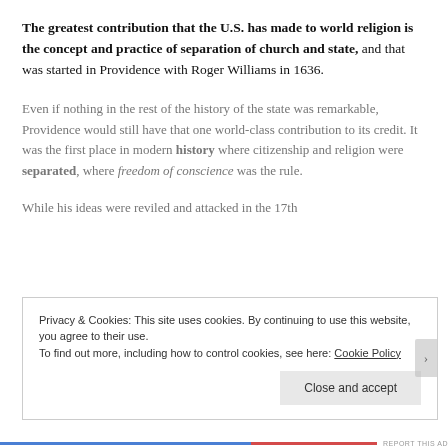The greatest contribution that the U.S. has made to world religion is the concept and practice of separation of church and state, and that was started in Providence with Roger Williams in 1636.
Even if nothing in the rest of the history of the state was remarkable, Providence would still have that one world-class contribution to its credit. It was the first place in modern history where citizenship and religion were separated, where freedom of conscience was the rule.
While his ideas were reviled and attacked in the 17th
Privacy & Cookies: This site uses cookies. By continuing to use this website, you agree to their use. To find out more, including how to control cookies, see here: Cookie Policy